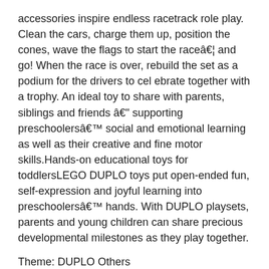accessories inspire endless racetrack role play. Clean the cars, charge them up, position the cones, wave the flags to start the raceâ€¦ and go! When the race is over, rebuild the set as a podium for the drivers to cel ebrate together with a trophy. An ideal toy to share with parents, siblings and friends â€" supporting preschoolersâ€™ social and emotional learning as well as their creative and fine motor skills.Hands-on educational toys for toddlersLEGO DUPLO toys put open-ended fun, self-expression and joyful learning into preschoolersâ€™ hands. With DUPLO playsets, parents and young children can share precious developmental milestones as they play together.
Theme: DUPLO Others
Age Group: 2+
Piece Count: 44
Â â€¢ Colorful racetrack playset offers imaginative fun and developmental benefits.â€¢ Includes 2 DUPLOÂ® racing driver figures with helmets and 2 push-and-go cars.â€¢